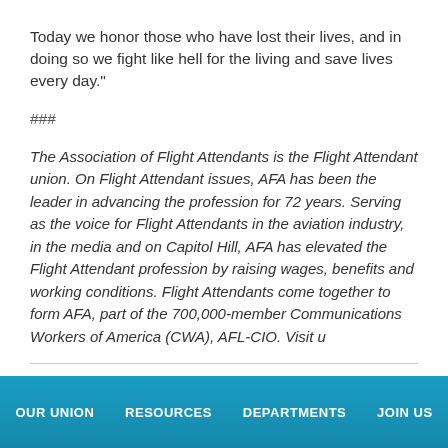Today we honor those who have lost their lives, and in doing so we fight like hell for the living and save lives every day."
###
The Association of Flight Attendants is the Flight Attendant union. On Flight Attendant issues, AFA has been the leader in advancing the profession for 72 years. Serving as the voice for Flight Attendants in the aviation industry, in the media and on Capitol Hill, AFA has elevated the Flight Attendant profession by raising wages, benefits and working conditions. Flight Attendants come together to form AFA, part of the 700,000-member Communications Workers of America (CWA), AFL-CIO. Visit u
[Figure (screenshot): Facebook Like and Share buttons with Sign Up link and Tweet button]
OUR UNION   RESOURCES   DEPARTMENTS   JOIN US